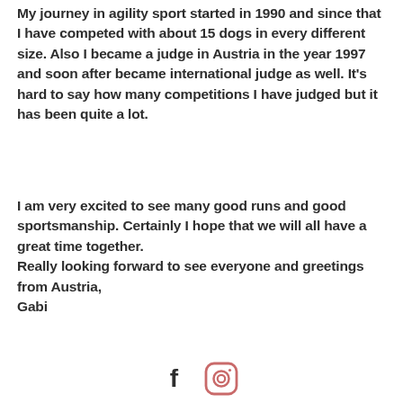My journey in agility sport started in 1990 and since that I have competed with about 15 dogs in every different size. Also I became a judge in Austria in the year 1997 and soon after became international judge as well. It's hard to say how many competitions I have judged but it has been quite a lot.
I am very excited to see many good runs and good sportsmanship. Certainly I hope that we will all have a great time together.
Really looking forward to see everyone and greetings from Austria,
Gabi
[Figure (illustration): Social media icons: Facebook (f) and Instagram (camera icon)]